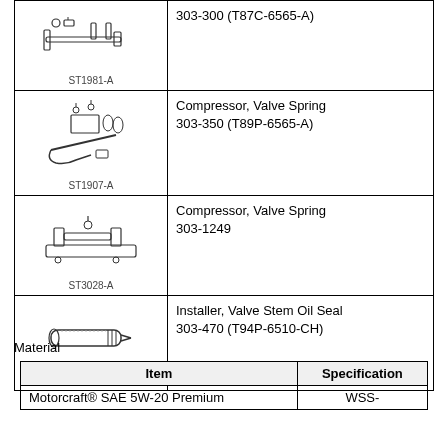[Figure (table-as-image): Tool table with engineering tool illustrations and part numbers]
| Item | Specification |
| --- | --- |
| Motorcraft® SAE 5W-20 Premium | WSS- |